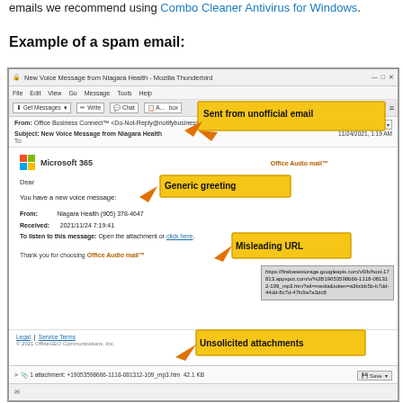emails we recommend using Combo Cleaner Antivirus for Windows.
Example of a spam email:
[Figure (screenshot): Screenshot of a spam email in Mozilla Thunderbird email client. The email appears to be from 'Office Business Connect' with subject 'New Voice Message from Niagara Health'. The email body shows a Microsoft 365 logo and Office Audio mail branding. It contains a generic greeting 'Dear', a message about a new voice message from Niagara Health (905) 378-4647 received 2021/11/24 7:19:41, a link to listen to the message, and a misleading Firebase Storage URL. Annotations highlight: 'Sent from unofficial email', 'Generic greeting', 'Misleading URL', and 'Unsolicited attachments'. There is 1 attachment: +19053598666-1118-081312-109_mp3.htm 42.1 KB.]